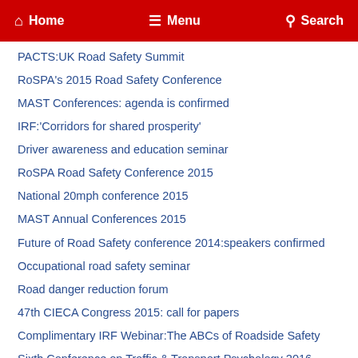Home  Menu  Search
PACTS:UK Road Safety Summit
RoSPA's 2015 Road Safety Conference
MAST Conferences: agenda is confirmed
IRF:'Corridors for shared prosperity'
Driver awareness and education seminar
RoSPA Road Safety Conference 2015
National 20mph conference 2015
MAST Annual Conferences 2015
Future of Road Safety conference 2014:speakers confirmed
Occupational road safety seminar
Road danger reduction forum
47th CIECA Congress 2015: call for papers
Complimentary IRF Webinar:The ABCs of Roadside Safety
Sixth Conference on Traffic & Transport Psychology 2016
The National Road Safety Conference confirms latest presentation
The Future of Road Safety Conference